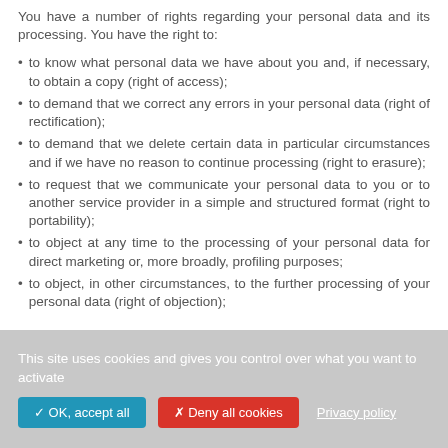You have a number of rights regarding your personal data and its processing. You have the right to:
to know what personal data we have about you and, if necessary, to obtain a copy (right of access);
to demand that we correct any errors in your personal data (right of rectification);
to demand that we delete certain data in particular circumstances and if we have no reason to continue processing (right to erasure);
to request that we communicate your personal data to you or to another service provider in a simple and structured format (right to portability);
to object at any time to the processing of your personal data for direct marketing or, more broadly, profiling purposes;
to object, in other circumstances, to the further processing of your personal data (right of objection);
This site uses cookies and gives you control over what you want to activate